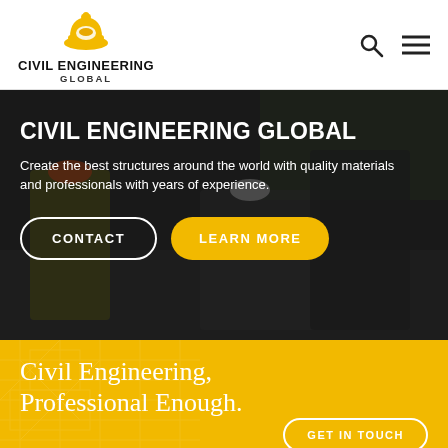[Figure (logo): Civil Engineering Global logo with hard hat icon]
CIVIL ENGINEERING GLOBAL
Create the best structures around the world with quality materials and professionals with years of experience.
[Figure (photo): Background photo of civil engineers reviewing plans on a construction site]
Civil Engineering, Professional Enough.